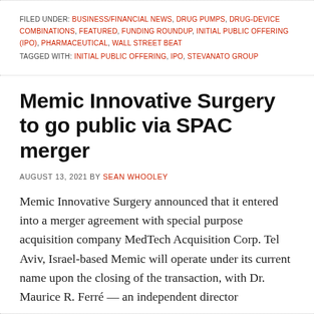FILED UNDER: BUSINESS/FINANCIAL NEWS, DRUG PUMPS, DRUG-DEVICE COMBINATIONS, FEATURED, FUNDING ROUNDUP, INITIAL PUBLIC OFFERING (IPO), PHARMACEUTICAL, WALL STREET BEAT
TAGGED WITH: INITIAL PUBLIC OFFERING, IPO, STEVANATO GROUP
Memic Innovative Surgery to go public via SPAC merger
AUGUST 13, 2021 BY SEAN WHOOLEY
Memic Innovative Surgery announced that it entered into a merger agreement with special purpose acquisition company MedTech Acquisition Corp. Tel Aviv, Israel-based Memic will operate under its current name upon the closing of the transaction, with Dr. Maurice R. Ferré — an independent director